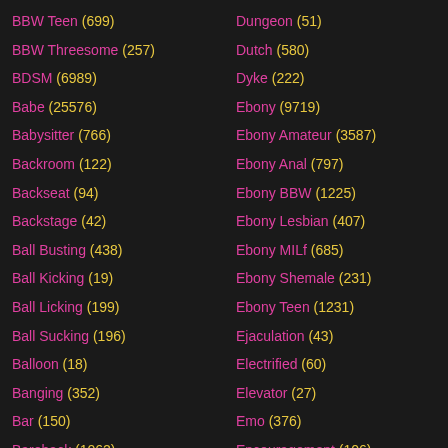BBW Teen (699)
BBW Threesome (257)
BDSM (6989)
Babe (25576)
Babysitter (766)
Backroom (122)
Backseat (94)
Backstage (42)
Ball Busting (438)
Ball Kicking (19)
Ball Licking (199)
Ball Sucking (196)
Balloon (18)
Banging (352)
Bar (150)
Bareback (1062)
Dungeon (51)
Dutch (580)
Dyke (222)
Ebony (9719)
Ebony Amateur (3587)
Ebony Anal (797)
Ebony BBW (1225)
Ebony Lesbian (407)
Ebony MILf (685)
Ebony Shemale (231)
Ebony Teen (1231)
Ejaculation (43)
Electrified (60)
Elevator (27)
Emo (376)
Encouragement (106)